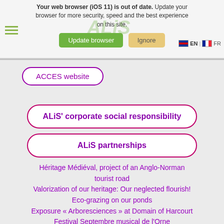Your web browser (iOS 11) is out of date. Update your browser for more security, speed and the best experience on this site.
ACCES website
ALiS' corporate social responsibility
ALiS partnerships
Héritage Médiéval, project of an Anglo-Norman tourist road
Valorization of our heritage: Our neglected flourish!
Eco-grazing on our ponds
Exposure « Arboresciences » at Domain of Harcourt
Festival Septembre musical de l'Orne
The Correspondances ensemble